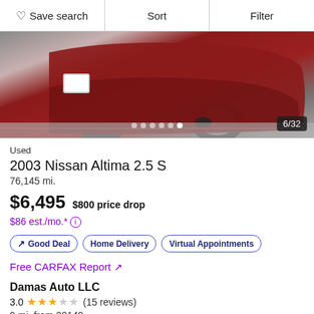♡ Save search  |  Sort  |  Filter
[Figure (photo): Partial view of a dark red/maroon car showing the front bumper and wheel area, image counter 6/32 shown at bottom right with navigation dots.]
Used
2003 Nissan Altima 2.5 S
76,145 mi.
$6,495  $800 price drop
$86 est./mo.* ⓘ
↗ Good Deal  Home Delivery  Virtual Appointments
Free CARFAX Report ↗
Damas Auto LLC
3.0 ★★★☆☆ (15 reviews)
9 mi. from 20149